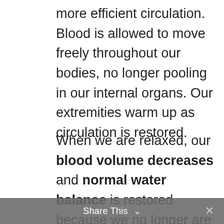more efficient circulation. Blood is allowed to move freely throughout our bodies, no longer pooling in our internal organs. Our extremities warm up as circulation is restored.
When we are relaxed, our blood volume decreases and normal water balance is restored because we no longer are producing extra chemicals that retain sodium and increase blood volume and pressure.
Our metabolic rate returns to normal, as our relaxation response exerts control over the
Share This ∨  ×